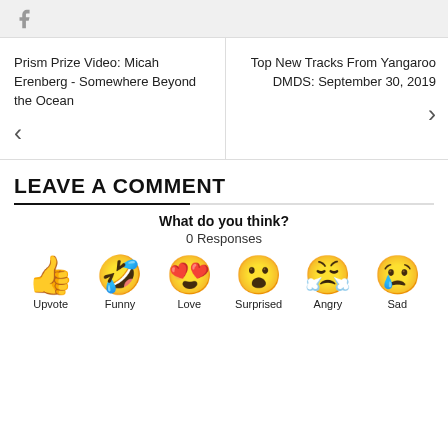[Figure (logo): Facebook icon in grey at top]
Prism Prize Video: Micah Erenberg - Somewhere Beyond the Ocean
Top New Tracks From Yangaroo DMDS: September 30, 2019
LEAVE A COMMENT
What do you think?
0 Responses
[Figure (infographic): Six emoji reaction buttons: Upvote (thumbs up), Funny (laughing face), Love (heart eyes), Surprised (wow face), Angry (crying/angry face), Sad (sad face with tear)]